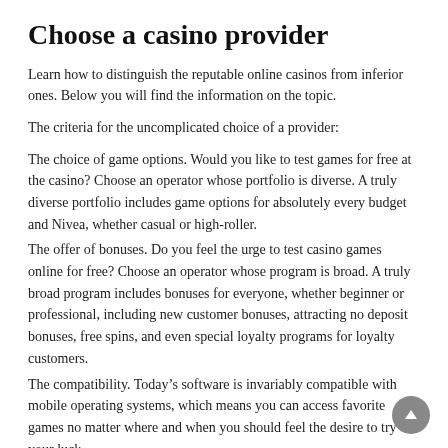Choose a casino provider
Learn how to distinguish the reputable online casinos from inferior ones. Below you will find the information on the topic.
The criteria for the uncomplicated choice of a provider:
The choice of game options. Would you like to test games for free at the casino? Choose an operator whose portfolio is diverse. A truly diverse portfolio includes game options for absolutely every budget and Nivea, whether casual or high-roller.
The offer of bonuses. Do you feel the urge to test casino games online for free? Choose an operator whose program is broad. A truly broad program includes bonuses for everyone, whether beginner or professional, including new customer bonuses, attracting no deposit bonuses, free spins, and even special loyalty programs for loyalty customers.
The compatibility. Today’s software is invariably compatible with mobile operating systems, which means you can access favorite games no matter where and when you should feel the desire to try your luck.